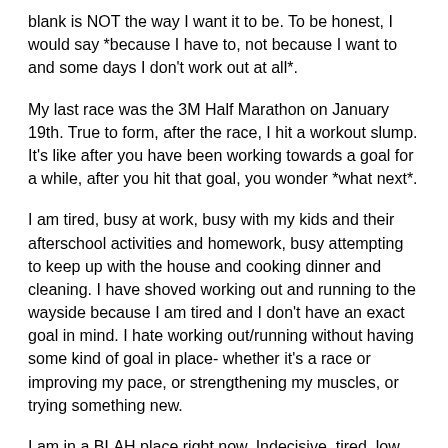blank is NOT the way I want it to be.  To be honest, I would say *because I have to, not because I want to and some days I don't work out at all*.
My last race was the 3M Half Marathon on January 19th.  True to form, after the race, I hit a workout slump.  It's like after you have been working towards a goal for a while, after you hit that goal, you wonder *what next*.
I am tired, busy at work, busy with my kids and their afterschool activities and homework, busy attempting to keep up with the house and cooking dinner and cleaning.  I have shoved working out and running to the wayside because I am tired and I don't have an exact goal in mind.  I hate working out/running without having some kind of goal in place- whether it's a race or improving my pace, or strengthening my muscles, or trying something new.
I am in a BLAH place right now.  Indecisive, tired, low motivation.
Woe is me, huh?